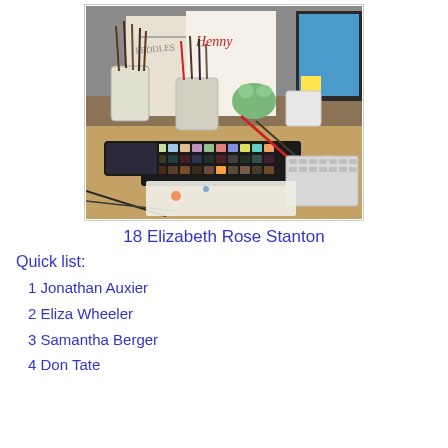[Figure (photo): A photo of an artist's desk with paintbrushes in cups, watercolor palettes, books titled 'Peddles' and 'Henny', a phone, pencils, and a computer monitor in the background.]
18 Elizabeth Rose Stanton
Quick list:
1 Jonathan Auxier
2 Eliza Wheeler
3 Samantha Berger
4 Don Tate